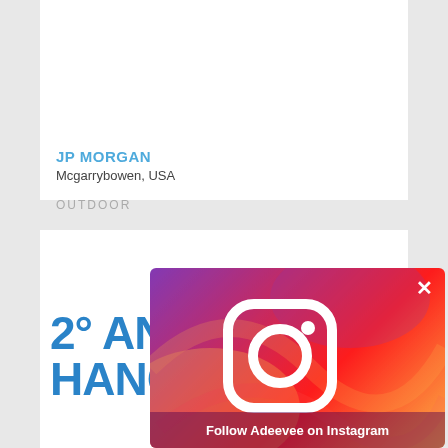JP MORGAN
Mcgarrybowen, USA
OUTDOOR
[Figure (screenshot): Partial view of a blue bold text reading '2° AN' and 'HANG' on white background — part of an advertisement card]
[Figure (infographic): Instagram follow overlay with gradient background (purple to orange), Instagram logo icon, close X button, and text 'Follow Adeevee on Instagram']